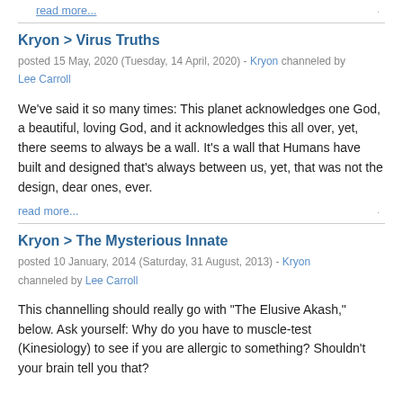read more...
Kryon > Virus Truths
posted 15 May, 2020 (Tuesday, 14 April, 2020) - Kryon channeled by Lee Carroll
We've said it so many times: This planet acknowledges one God, a beautiful, loving God, and it acknowledges this all over, yet, there seems to always be a wall. It's a wall that Humans have built and designed that's always between us, yet, that was not the design, dear ones, ever.
read more...
Kryon > The Mysterious Innate
posted 10 January, 2014 (Saturday, 31 August, 2013) - Kryon channeled by Lee Carroll
This channelling should really go with "The Elusive Akash," below. Ask yourself: Why do you have to muscle-test (Kinesiology) to see if you are allergic to something? Shouldn't your brain tell you that?